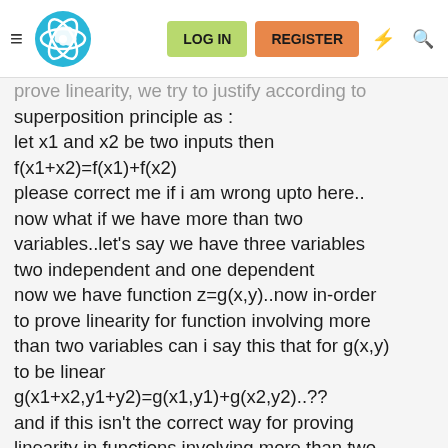LOG IN | REGISTER
prove linearity, we try to justify according to superposition principle as :
let x1 and x2 be two inputs then
f(x1+x2)=f(x1)+f(x2)
please correct me if i am wrong upto here..
now what if we have more than two variables..let's say we have three variables two independent and one dependent
now we have function z=g(x,y)..now in-order to prove linearity for function involving more than two variables can i say this that for g(x,y) to be linear
g(x1+x2,y1+y2)=g(x1,y1)+g(x2,y2)..??
and if this isn't the correct way for proving linearity in functions involving more than two variables..then please justify the correct